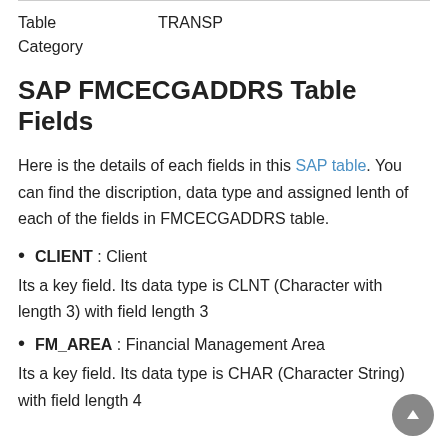Table    TRANSP
Category
SAP FMCECGADDRS Table Fields
Here is the details of each fields in this SAP table. You can find the discription, data type and assigned lenth of each of the fields in FMCECGADDRS table.
CLIENT : Client
Its a key field. Its data type is CLNT (Character with length 3) with field length 3
FM_AREA : Financial Management Area
Its a key field. Its data type is CHAR (Character String) with field length 4